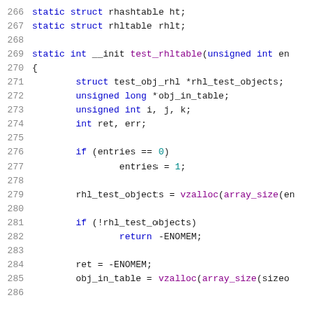[Figure (screenshot): Source code listing showing lines 266-286 of a C source file implementing rhashtable/rhltable test functions. Lines shown include static struct declarations, function definition for test_rhltable, variable declarations, and logic for initializing entries and allocating memory with vzalloc.]